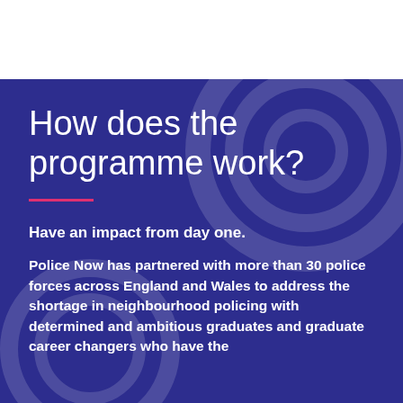How does the programme work?
Have an impact from day one.
Police Now has partnered with more than 30 police forces across England and Wales to address the shortage in neighbourhood policing with determined and ambitious graduates and graduate career changers who have the